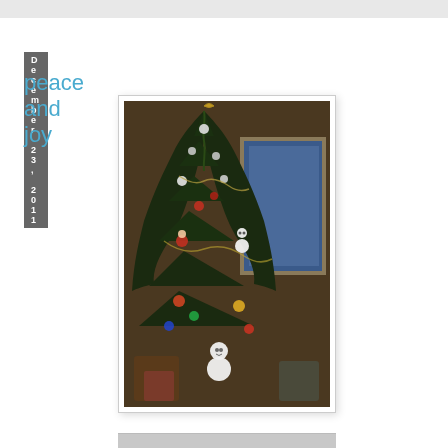December 23, 2011
peace and joy
[Figure (photo): A decorated Christmas tree with colorful ornaments including snowmen and Santa figures, photographed indoors with a window showing blue evening sky in the background. The photo is close-up showing mostly the upper portion of the tree.]